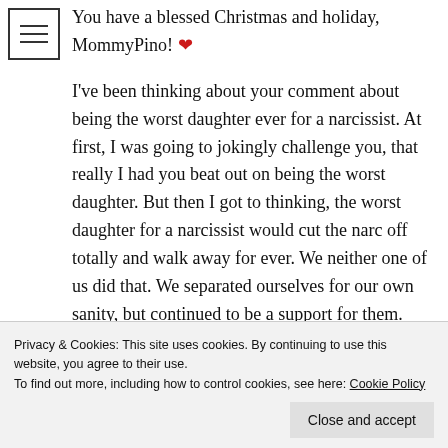You have a blessed Christmas and holiday, MommyPino! ❤
I've been thinking about your comment about being the worst daughter ever for a narcissist. At first, I was going to jokingly challenge you, that really I had you beat out on being the worst daughter. But then I got to thinking, the worst daughter for a narcissist would cut the narc off totally and walk away for ever. We neither one of us did that. We separated ourselves for our own sanity, but continued to be a support for them.
Privacy & Cookies: This site uses cookies. By continuing to use this website, you agree to their use. To find out more, including how to control cookies, see here: Cookie Policy
Close and accept